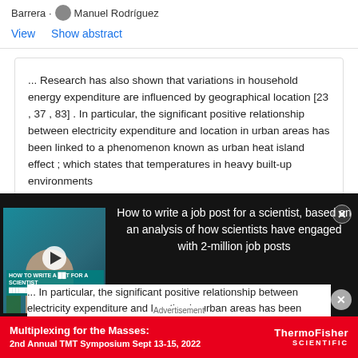Barrera · Manuel Rodríguez
View   Show abstract
... Research has also shown that variations in household energy expenditure are influenced by geographical location [23 , 37 , 83] . In particular, the significant positive relationship between electricity expenditure and location in urban areas has been linked to a phenomenon known as urban heat island effect ; which states that temperatures in heavy built-up environments
[Figure (screenshot): Video ad overlay: 'How to write a job post for a scientist, based on an analysis of how scientists have engaged with 2-million job posts' shown over dark background with video thumbnail on the left showing a person in an office setting]
... In particular, the significant positive relationship between electricity expenditure and location in urban areas has been linked to a phenomenon known as urban
Advertisement
[Figure (photo): Thermo Fisher Scientific advertisement banner: 'Multiplexing for the Masses: 2nd Annual TMT Symposium Sept 13-15, 2022']